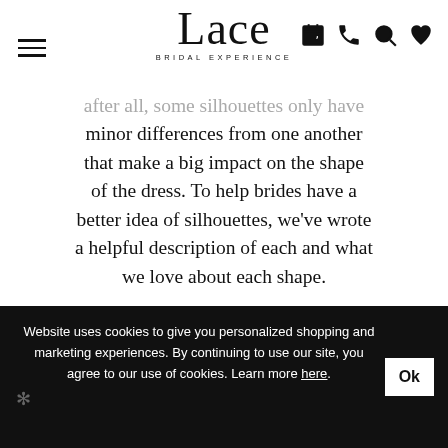Lace BRIDAL EXPERIENCE
after all, some silhouettes only have minor differences from one another that make a big impact on the shape of the dress. To help brides have a better idea of silhouettes, we've wrote a helpful description of each and what we love about each shape.
A-LINE
88109 by Justin Alexander
Website uses cookies to give you personalized shopping and marketing experiences. By continuing to use our site, you agree to our use of cookies. Learn more here.